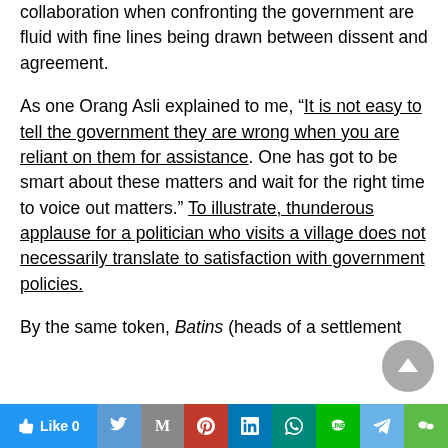collaboration when confronting the government are fluid with fine lines being drawn between dissent and agreement.
As one Orang Asli explained to me, “It is not easy to tell the government they are wrong when you are reliant on them for assistance. One has got to be smart about these matters and wait for the right time to voice out matters.” To illustrate, thunderous applause for a politician who visits a village does not necessarily translate to satisfaction with government policies.
By the same token, Batins (heads of a settlement